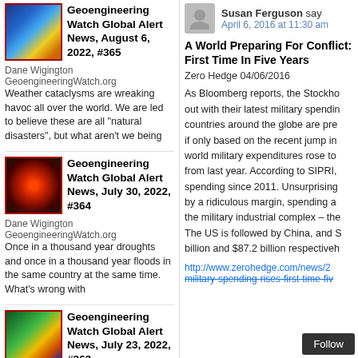Geoengineering Watch Global Alert News, August 6, 2022, #365
Dane Wigington GeoengineeringWatch.org Weather cataclysms are wreaking havoc all over the world. We are led to believe these are all "natural disasters", but what aren't we being
Geoengineering Watch Global Alert News, July 30, 2022, #364
Dane Wigington GeoengineeringWatch.org Once in a thousand year droughts and once in a thousand year floods in the same country at the same time. What's wrong with
Geoengineering Watch Global Alert News, July 23, 2022, #363
Dane Wigington GeoengineeringWatch.org Record heat, drought and deluge, the hallmarks of climate intervention operations. Far worse is yet to come. Long duration deadly heat waves have become
Susan Ferguson says
April 6, 2016 at 11:30 am
A World Preparing For Conflict: First Time In Five Years
Zero Hedge 04/06/2016
As Bloomberg reports, the Stockholm out with their latest military spendin countries around the globe are pre if only based on the recent jump in world military expenditures rose to from last year. According to SIPRI, spending since 2011. Unsurprising by a ridiculous margin, spending a the military industrial complex – the The US is followed by China, and S billion and $87.2 billion respectiveh
http://www.zerohedge.com/news/2 military-spending-rises-first-time-fiv